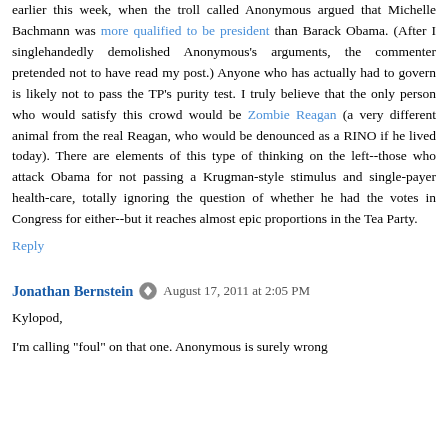earlier this week, when the troll called Anonymous argued that Michelle Bachmann was more qualified to be president than Barack Obama. (After I singlehandedly demolished Anonymous's arguments, the commenter pretended not to have read my post.) Anyone who has actually had to govern is likely not to pass the TP's purity test. I truly believe that the only person who would satisfy this crowd would be Zombie Reagan (a very different animal from the real Reagan, who would be denounced as a RINO if he lived today). There are elements of this type of thinking on the left--those who attack Obama for not passing a Krugman-style stimulus and single-payer health-care, totally ignoring the question of whether he had the votes in Congress for either--but it reaches almost epic proportions in the Tea Party.
Reply
Jonathan Bernstein  August 17, 2011 at 2:05 PM
Kylopod,
I'm calling "foul" on that one. Anonymous is surely wrong...